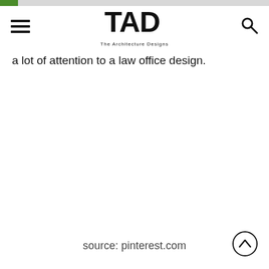TAD - The Architecture Designs
a lot of attention to a law office design.
source: pinterest.com